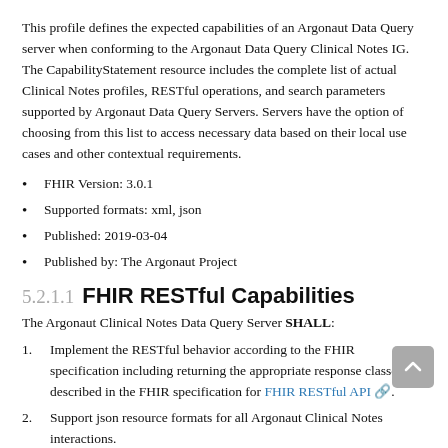This profile defines the expected capabilities of an Argonaut Data Query server when conforming to the Argonaut Data Query Clinical Notes IG. The CapabilityStatement resource includes the complete list of actual Clinical Notes profiles, RESTful operations, and search parameters supported by Argonaut Data Query Servers. Servers have the option of choosing from this list to access necessary data based on their local use cases and other contextual requirements.
FHIR Version: 3.0.1
Supported formats: xml, json
Published: 2019-03-04
Published by: The Argonaut Project
5.2.1.1 FHIR RESTful Capabilities
The Argonaut Clinical Notes Data Query Server SHALL:
Implement the RESTful behavior according to the FHIR specification including returning the appropriate response classes as described in the FHIR specification for FHIR RESTful API.
Support json resource formats for all Argonaut Clinical Notes interactions.
Declare a CapabilityStatement identifying the list of profiles.